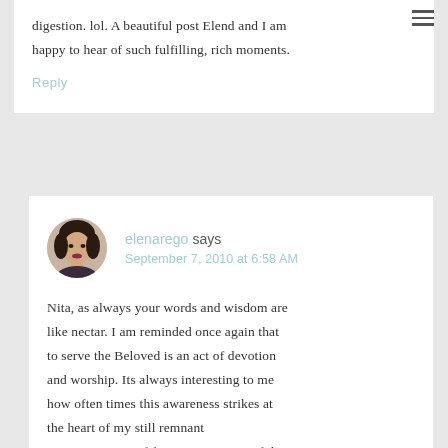digestion. lol. A beautiful post Elend and I am happy to hear of such fulfilling, rich moments.
Reply
[Figure (photo): Circular avatar photo of a woman with dark hair]
elenarego says
September 7, 2010 at 6:58 AM
Nita, as always your words and wisdom are like nectar. I am reminded once again that to serve the Beloved is an act of devotion and worship. Its always interesting to me how often times this awareness strikes at the heart of my still remnant misconceptions of feminism. We are of the